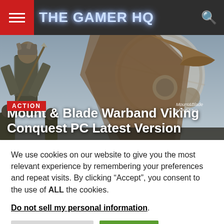THE GAMER HQ
[Figure (photo): Viking warrior in chainmail armor beside a decorated longship shield and prow. Mount & Blade Warband Viking Conquest game artwork with 'ACTION' badge and title overlay.]
Mount & Blade Warband Viking Conquest PC Latest Version
We use cookies on our website to give you the most relevant experience by remembering your preferences and repeat visits. By clicking “Accept”, you consent to the use of ALL the cookies.
Do not sell my personal information.
Cookie Settings | Accept